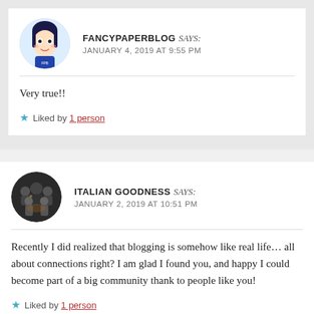FANCYPAPERBLOG says: JANUARY 4, 2019 AT 9:55 PM
Very true!!
Liked by 1 person
ITALIAN GOODNESS says: JANUARY 2, 2019 AT 10:51 PM
Recently I did realized that blogging is somehow like real life… all about connections right? I am glad I found you, and happy I could become part of a big community thank to people like you!
Liked by 1 person